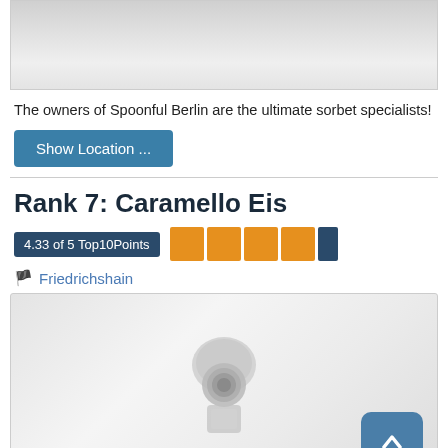[Figure (photo): Top portion of a photo, blurred/faded, showing a light gray surface]
The owners of Spoonful Berlin are the ultimate sorbet specialists!
Show Location ...
Rank 7: Caramello Eis
4.33 of 5 Top10Points
Friedrichshain
[Figure (photo): Photo of an ice cream scoop, blurred/whitish background with a scroll-to-top button in the bottom right corner]